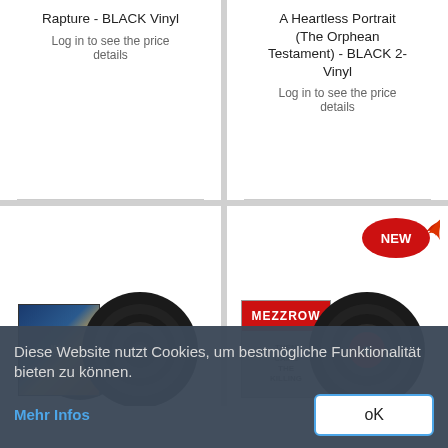Rapture - BLACK Vinyl
Log in to see the price details
A Heartless Portrait (The Orphean Testament) - BLACK 2-Vinyl
Log in to see the price details
[Figure (photo): Vinyl record album product image - Mystic Atlantia or similar title]
[Figure (photo): Mezzrow - Then Came The Killing album vinyl record with NEW badge]
Diese Website nutzt Cookies, um bestmögliche Funktionalität bieten zu können.
Mehr Infos
oK